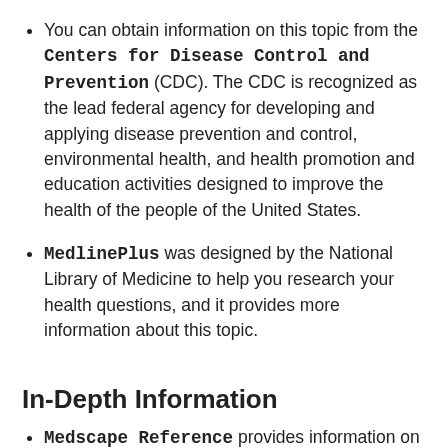You can obtain information on this topic from the Centers for Disease Control and Prevention (CDC). The CDC is recognized as the lead federal agency for developing and applying disease prevention and control, environmental health, and health promotion and education activities designed to improve the health of the people of the United States.
MedlinePlus was designed by the National Library of Medicine to help you research your health questions, and it provides more information about this topic.
In-Depth Information
Medscape Reference provides information on this topic. You may need to register to view the medical textbook, but registration is